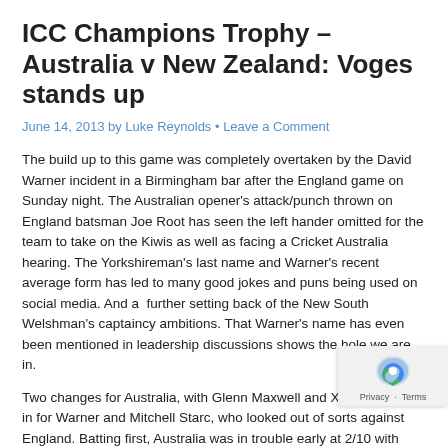ICC Champions Trophy – Australia v New Zealand: Voges stands up
June 14, 2013 by Luke Reynolds • Leave a Comment
The build up to this game was completely overtaken by the David Warner incident in a Birmingham bar after the England game on Sunday night. The Australian opener's attack/punch thrown on England batsman Joe Root has seen the left hander omitted for the team to take on the Kiwis as well as facing a Cricket Australia hearing. The Yorkshireman's last name and Warner's recent average form has led to many good jokes and puns being used on social media. And a  further setting back of the New South Welshman's captaincy ambitions. That Warner's name has even been mentioned in leadership discussions shows the hole we are in.
Two changes for Australia, with Glenn Maxwell and Xavier Doherty in for Warner and Mitchell Starc, who looked out of sorts against England. Batting first, Australia was in trouble early at 2/10 with Watson being caught behind and Hughes run out, before a consolidating 64 run partnership between Matthew Wade, who was promoted to fill Warner's opening slot, and stand in captain George Bailey. Wade and Bailey have been criticised for their run rates during this innings but how are you meant to bat when the score is 2/10? And the Edgbaston pitch, as it was against England, wasn't the easiest pitch to bat on.